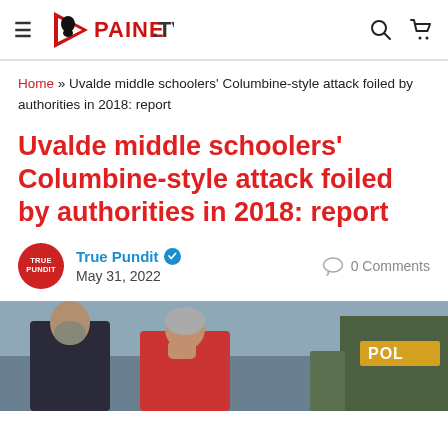PAINE.TV
Home » Uvalde middle schoolers' Columbine-style attack foiled by authorities in 2018: report
Uvalde middle schoolers' Columbine-style attack foiled by authorities in 2018: report
True Pundit  May 31, 2022  0 Comments
[Figure (photo): Two people, a man and a woman, appearing distressed, with a police officer visible in the background]